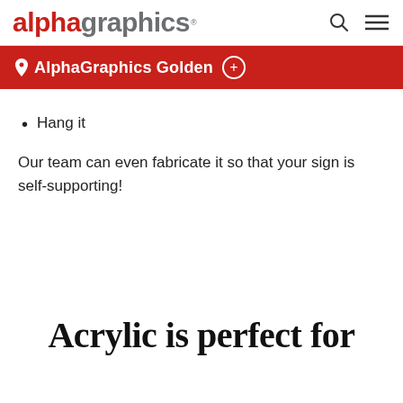alphagraphics
AlphaGraphics Golden +
Hang it
Our team can even fabricate it so that your sign is self-supporting!
Acrylic is perfect for